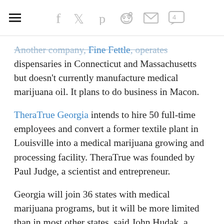Navigation and social sharing icons: hamburger menu, facebook, twitter, pinterest, reddit, email, comments (4)
Another company, Fine Fettle, operates dispensaries in Connecticut and Massachusetts but doesn't currently manufacture medical marijuana oil. It plans to do business in Macon.
TheraTrue Georgia intends to hire 50 full-time employees and convert a former textile plant in Louisville into a medical marijuana growing and processing facility. TheraTrue was founded by Paul Judge, a scientist and entrepreneur.
Georgia will join 36 states with medical marijuana programs, but it will be more limited than in most other states, said John Hudak, a researcher who studies cannabis policy for the Brookings Institution, a Washington-based public policy